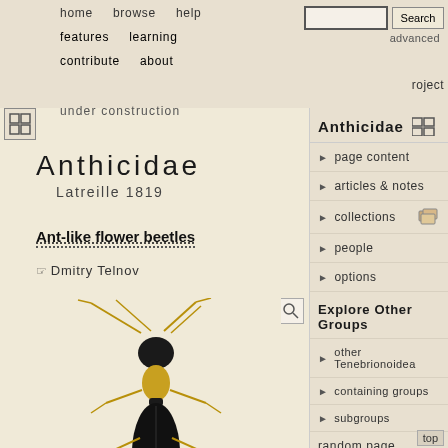home  browse  help  features  learning  contribute  about  Search  advanced  roject  under construction
Anthicidae
Latreille 1819
Ant-like flower beetles
Dmitry Telnov
[Figure (photo): Dorsal view photograph of an ant-like flower beetle (Anthicidae), showing a black elongated body with tan/golden antennae, legs, and body segments, characteristic ant-mimic morphology. A second partial specimen is visible at the bottom.]
Anthicidae
page content
articles & notes
collections
people
options
Explore Other Groups
other Tenebrionoidea
containing groups
subgroups
random page
top